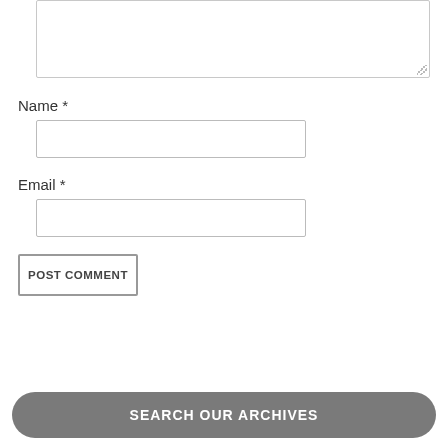[Figure (screenshot): A textarea input field (comment box) with a resize handle at the bottom-right corner, partially visible at the top of the page.]
Name *
[Figure (screenshot): A text input field for Name entry.]
Email *
[Figure (screenshot): A text input field for Email entry.]
POST COMMENT
SEARCH OUR ARCHIVES